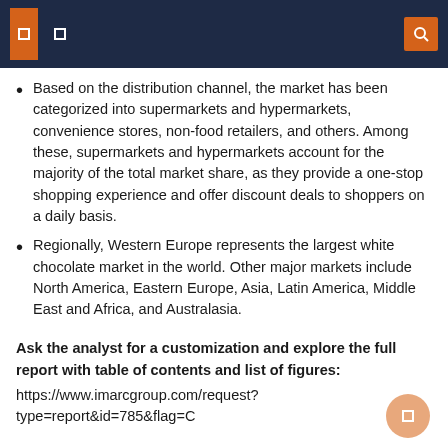Based on the distribution channel, the market has been categorized into supermarkets and hypermarkets, convenience stores, non-food retailers, and others. Among these, supermarkets and hypermarkets account for the majority of the total market share, as they provide a one-stop shopping experience and offer discount deals to shoppers on a daily basis.
Regionally, Western Europe represents the largest white chocolate market in the world. Other major markets include North America, Eastern Europe, Asia, Latin America, Middle East and Africa, and Australasia.
Ask the analyst for a customization and explore the full report with table of contents and list of figures:
https://www.imarcgroup.com/request?type=report&id=785&flag=C